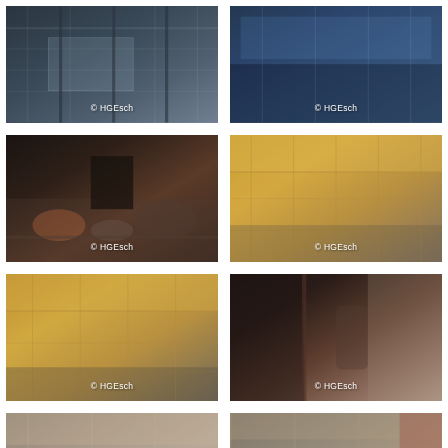[Figure (photo): Interior architectural photo of a building with glass facade, dark structural elements, and warehouse-like space. Watermark: © HGEsch]
[Figure (photo): Interior architectural photo of a modern building with glass walls reflecting blue sky and bookshelves or industrial elements. Watermark: © HGEsch]
[Figure (photo): Interior photo of a lounge/meeting area with dark furniture, orange/red chairs, dark walls, and warm lighting. Watermark: © HGEsch]
[Figure (photo): Interior photo of a large open-plan office with exposed wooden ceiling structure and natural light from above. Watermark: © HGEsch]
[Figure (photo): Interior photo of a wide open-plan workspace with wooden ceiling trusses and linear lighting, people working in background. Watermark: © HGEsch]
[Figure (photo): Interior corridor/hallway photo with dark curtains or panels on left, glass walls on right, modern office ambiance. Watermark: © HGEsch]
[Figure (photo): Interior photo of an open office/lounge area viewed through glass walls, blue and red furniture visible. Watermark: © HGEsch]
[Figure (photo): Interior photo of a dining or meeting space with wooden tables, chairs, and red curtains. Modern interior design. Watermark: © HGEsch]